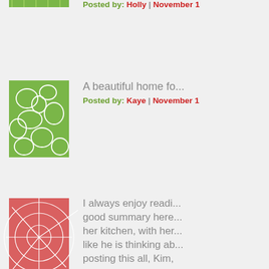[Figure (illustration): Green geometric pattern avatar thumbnail]
birdhouse!!!
Posted by: Holly | November 1
[Figure (illustration): Green pebble pattern avatar thumbnail]
A beautiful home fo...
Posted by: Kaye | November 1
[Figure (illustration): Red/pink starburst pattern avatar thumbnail]
I always enjoy readi... good summary here... her kitchen, with her... like he is thinking ab... posting this all, Kim,
Posted by: dotsie | November
[Figure (illustration): Light blue network pattern avatar thumbnail]
I have followed both... inspirations!
Posted by: Brenda | November
[Figure (illustration): Green sunburst pattern avatar thumbnail]
What an adorable lit...